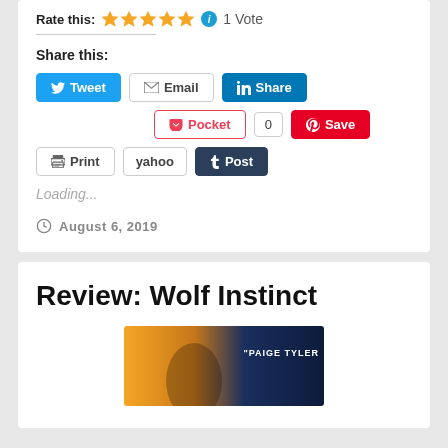Rate this: ★★★★★ ℹ 1 Vote
Share this:
[Figure (screenshot): Social share buttons: Tweet, Email, Share (LinkedIn), Pocket (0), Save (Pinterest), Print, yahoo, Post (Tumblr)]
Loading...
August 6, 2019
Review: Wolf Instinct
[Figure (photo): Bottom portion of a book cover with text PAIGE TYLER visible on dark blue background with warm light]